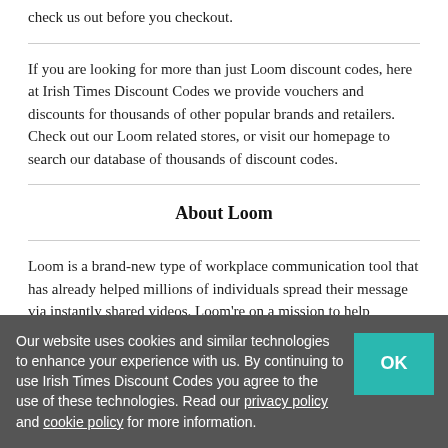check us out before you checkout.
If you are looking for more than just Loom discount codes, here at Irish Times Discount Codes we provide vouchers and discounts for thousands of other popular brands and retailers. Check out our Loom related stores, or visit our homepage to search our database of thousands of discount codes.
About Loom
Loom is a brand-new type of workplace communication tool that has already helped millions of individuals spread their message via instantly shared videos. Loom're on a mission to help everyone at work communicate better, no matter where they are.
Our website uses cookies and similar technologies to enhance your experience with us. By continuing to use Irish Times Discount Codes you agree to the use of these technologies. Read our privacy policy and cookie policy for more information.